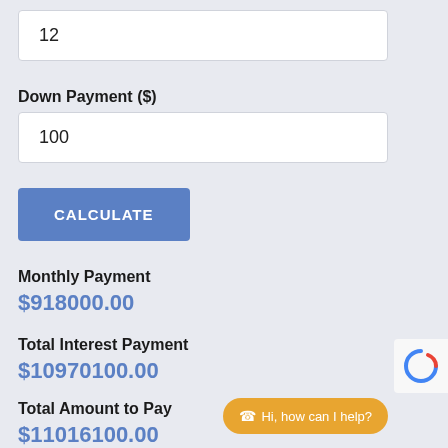12
Down Payment ($)
100
CALCULATE
Monthly Payment
$918000.00
Total Interest Payment
$10970100.00
Total Amount to Pay
$11016100.00
Hi, how can I help?